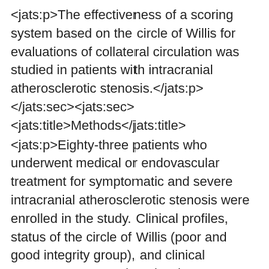<jats:p>The effectiveness of a scoring system based on the circle of Willis for evaluations of collateral circulation was studied in patients with intracranial atherosclerotic stenosis.</jats:p></jats:sec><jats:sec><jats:title>Methods</jats:title><jats:p>Eighty-three patients who underwent medical or endovascular treatment for symptomatic and severe intracranial atherosclerotic stenosis were enrolled in the study. Clinical profiles, status of the circle of Willis (poor and good integrity group), and clinical outcomes were analyzed. Primary endpoints were: (1) symptomatic ischemic or hemorrhagic stroke within 30 days; and (2) recurrent transient ischemic attack or ischemic stroke beyond 30 days.</jats:p></jats:sec><jats:sec><jats:title>Results</jats:title><jats:p>The estimated rates of the primary endpoint at 1 and 2 years after treatment were 8.5% and 11.4% in the medical group and 7.0% and 9.7% in the